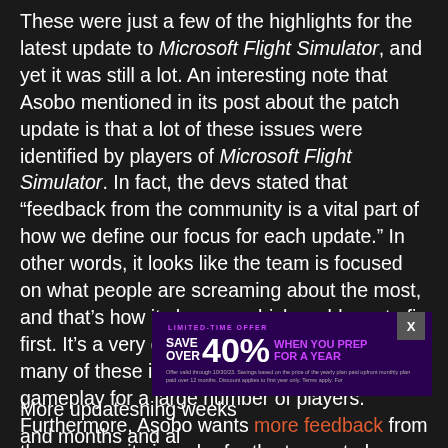These were just a few of the highlights for the latest update to Microsoft Flight Simulator, and yet it was still a lot. An interesting note that Asobo mentioned in its post about the patch update is that a lot of these issues were identified by players of Microsoft Flight Simulator. In fact, the devs stated that “feedback from the community is a vital part of how we define our focus for each update.” In other words, it looks like the team is focused on what people are screaming about the most, and that’s how it chooses which problems to fix first. It’s a very good approach considering that many of these issues severely impacted gameplay for a large number of players. Furthermore, Asobo wants more feedback from the community in order for the teams to keep a log of the issues.
[Figure (other): Advertisement banner: LIMITED-TIME OFFER SAVE OVER 40% WHEN YOU PREP FOR A YEAR. Fine print about offer validity.]
More updates coming in the coming weeks and months...